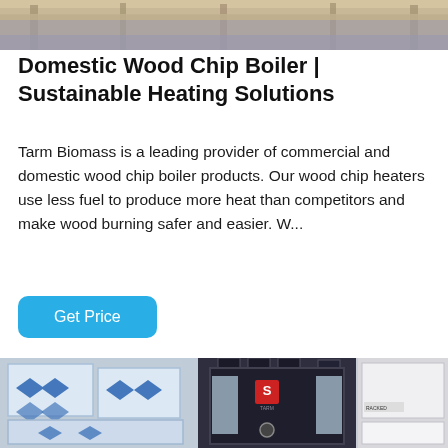[Figure (photo): Top banner photo of industrial/warehouse interior ceiling structure with wooden beams and metal framework]
Domestic Wood Chip Boiler | Sustainable Heating Solutions
Tarm Biomass is a leading provider of commercial and domestic wood chip boiler products. Our wood chip heaters use less fuel to produce more heat than competitors and make wood burning safer and easier. W...
[Figure (illustration): A blue Get Price button with rounded corners]
[Figure (photo): Industrial boiler unit - dark navy/black boiler with silver panel accents and red logo, flanked by packaged goods in blue wrapping on the left and white panels on the right, in a warehouse setting]